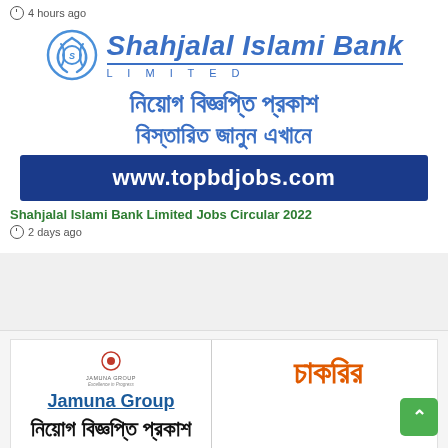4 hours ago
[Figure (logo): Shahjalal Islami Bank Limited logo with circular swirl emblem and bank name in blue italic text with LIMITED spelled below]
নিয়োগ বিজ্ঞপ্তি প্রকাশ
বিস্তারিত জানুন এখানে
www.topbdjobs.com
Shahjalal Islami Bank Limited Jobs Circular 2022
2 days ago
[Figure (logo): Jamuna Group logo with small emblem, text Jamuna Group in blue underlined, Bengali text চাকরির and নিয়োগ বিজ্ঞপ্তি প্রকাশ]